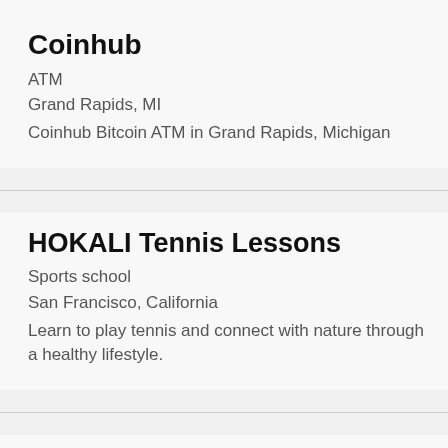Coinhub
ATM
Grand Rapids, MI
Coinhub Bitcoin ATM in Grand Rapids, Michigan
HOKALI Tennis Lessons
Sports school
San Francisco, California
Learn to play tennis and connect with nature through a healthy lifestyle.
Flagstone Search Marketing
Marketing agency